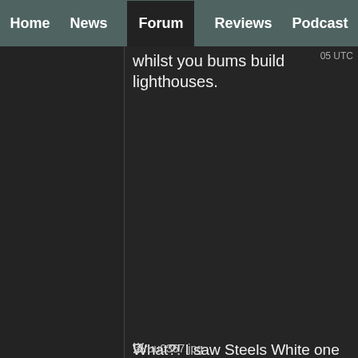Home | News | Forum | Reviews | Podcast
whilst you bums build lighthouses.
[Figure (illustration): Ukraine flag with 'NO WAR' text. Blue top half with 'NO' and yellow bottom half with 'WAR'.]
What?! I saw Steels White one and had penis envy now I have the black dong. It doesn't do that animation though like the white one. It's static. Boooooooooo!
ruu0367.jpg